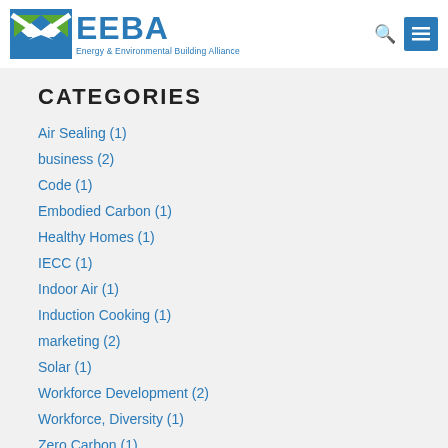[Figure (logo): EEBA - Energy & Environmental Building Alliance logo with triangular green and blue icon]
CATEGORIES
Air Sealing (1)
business (2)
Code (1)
Embodied Carbon (1)
Healthy Homes (1)
IECC (1)
Indoor Air (1)
Induction Cooking (1)
marketing (2)
Solar (1)
Workforce Development (2)
Workforce, Diversity (1)
Zero Carbon (1)
Zero Energy Home (3)